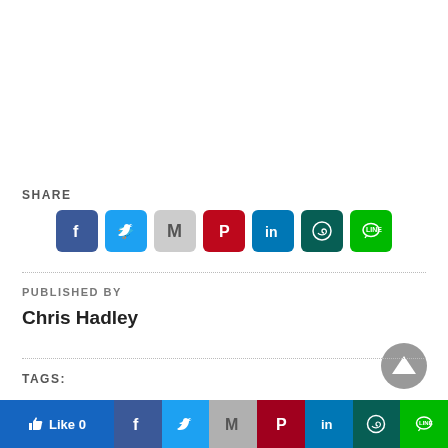SHARE
[Figure (screenshot): Row of social media share icon buttons: Facebook, Twitter, Gmail, Pinterest, LinkedIn, WhatsApp, LINE]
PUBLISHED BY
Chris Hadley
TAGS:
[Figure (screenshot): Bottom social share bar with Like 0 button and icons for Facebook, Twitter, Gmail, Pinterest, LinkedIn, WhatsApp, LINE]